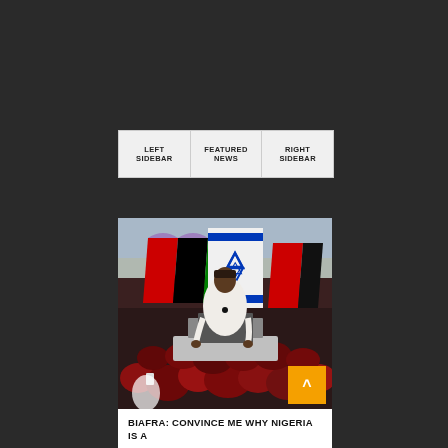LEFT SIDEBAR | FEATURED NEWS | RIGHT SIDEBAR
[Figure (photo): A man in white traditional attire standing through the sunroof of a vehicle at a large outdoor rally, surrounded by Biafra flags (red, black, and green) and an Israeli flag with Star of David. A large crowd of people dressed in red and black fill the background.]
BIAFRA: CONVINCE ME WHY NIGERIA IS A